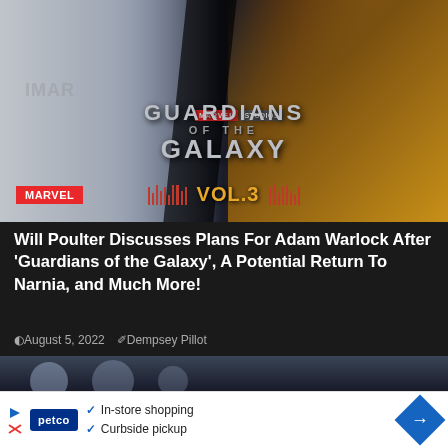[Figure (photo): Composite image of Will Poulter (actor, left side, photo) and Adam Warlock comic character (right side), with Guardians of the Galaxy Vol. 3 Marvel Studios logo overlay and MARVEL badge in bottom-left corner]
Will Poulter Discusses Plans For Adam Warlock After 'Guardians of the Galaxy', A Potential Return To Narnia, and Much More!
August 5, 2022   Dempsey Pillot
[Figure (photo): Partially visible second article image showing bokeh lights, dark cinematic tones]
In-store shopping  Curbside pickup  (Petco advertisement)